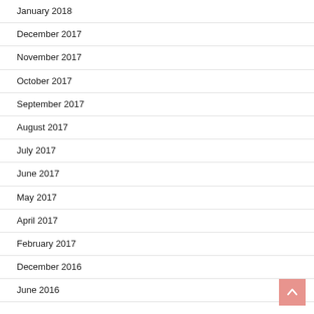January 2018
December 2017
November 2017
October 2017
September 2017
August 2017
July 2017
June 2017
May 2017
April 2017
February 2017
December 2016
June 2016